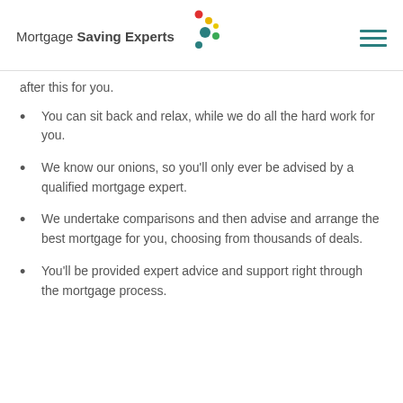[Figure (logo): Mortgage Saving Experts logo with colorful dots and hamburger menu icon]
after this for you.
You can sit back and relax, while we do all the hard work for you.
We know our onions, so you'll only ever be advised by a qualified mortgage expert.
We undertake comparisons and then advise and arrange the best mortgage for you, choosing from thousands of deals.
You'll be provided expert advice and support right through the mortgage process.